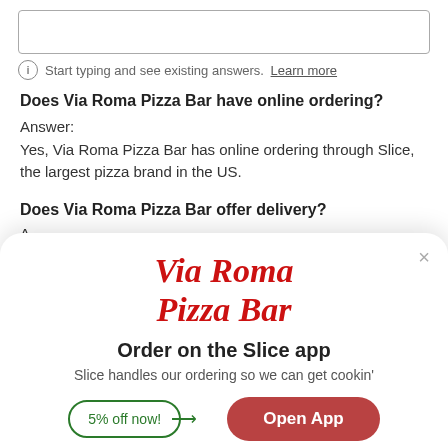(search box)
Start typing and see existing answers. Learn more
Does Via Roma Pizza Bar have online ordering?
Answer:
Yes, Via Roma Pizza Bar has online ordering through Slice, the largest pizza brand in the US.
Does Via Roma Pizza Bar offer delivery?
A-
[Figure (screenshot): Modal popup with Via Roma Pizza Bar logo in bold italic red serif font, 'Order on the Slice app' title, 'Slice handles our ordering so we can get cookin'' subtitle, a '5% off now!' outlined badge with arrow, and a red 'Open App' button. Close X button in top right.]